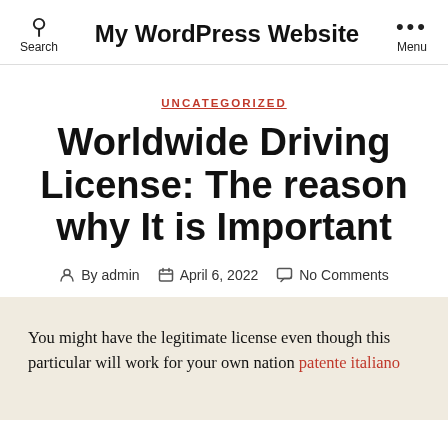My WordPress Website
UNCATEGORIZED
Worldwide Driving License: The reason why It is Important
By admin  April 6, 2022  No Comments
You might have the legitimate license even though this particular will work for your own nation patente italiano